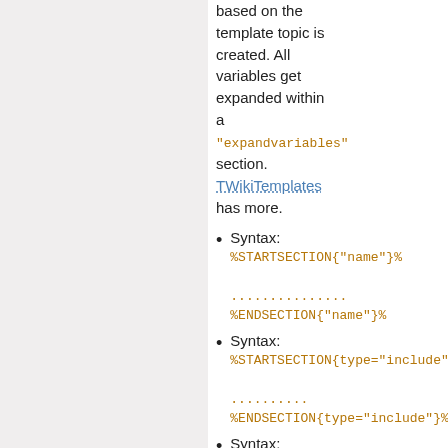based on the template topic is created. All variables get expanded within a "expandvariables" section. TWikiTemplates has more.
Syntax: %STARTSECTION{"name"}% ............... %ENDSECTION{"name"}%
Syntax: %STARTSECTION{type="include"} .......... %ENDSECTION{type="include"}%
Syntax: %STARTSECTION{type="template"} ...... %ENDSECTION{type="templateo